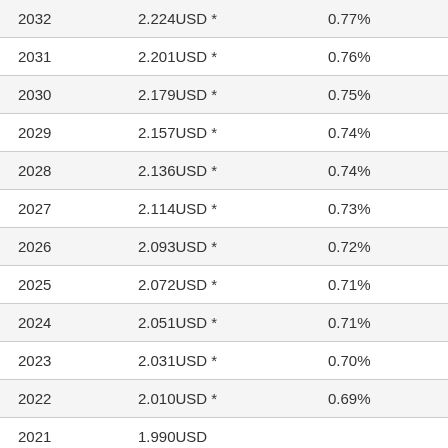| 2032 | 2.224USD * | 0.77% |
| 2031 | 2.201USD * | 0.76% |
| 2030 | 2.179USD * | 0.75% |
| 2029 | 2.157USD * | 0.74% |
| 2028 | 2.136USD * | 0.74% |
| 2027 | 2.114USD * | 0.73% |
| 2026 | 2.093USD * | 0.72% |
| 2025 | 2.072USD * | 0.71% |
| 2024 | 2.051USD * | 0.71% |
| 2023 | 2.031USD * | 0.70% |
| 2022 | 2.010USD * | 0.69% |
| 2021 | 1.990USD |  |
| 2020 | 1.780USD |  |